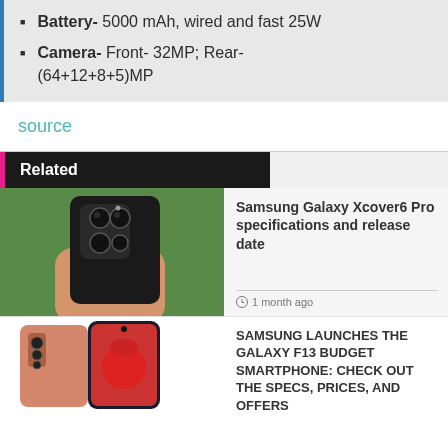Battery- 5000 mAh, wired and fast 25W
Camera- Front- 32MP; Rear- (64+12+8+5)MP
source
Related
[Figure (photo): Hand holding Samsung Galaxy phone from back showing quad camera module]
Samsung Galaxy Xcover6 Pro specifications and release date
1 month ago
[Figure (photo): Samsung Galaxy F13 smartphone in pink/rose gold color showing front and back]
SAMSUNG LAUNCHES THE GALAXY F13 BUDGET SMARTPHONE: CHECK OUT THE SPECS, PRICES, AND OFFERS